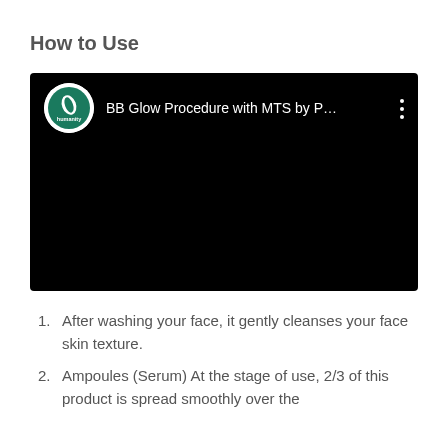How to Use
[Figure (screenshot): A YouTube video thumbnail showing 'BB Glow Procedure with MTS by P...' with a humanity brand logo (green circle with white leaf) on a black background, and a vertical three-dot menu icon.]
After washing your face, it gently cleanses your face skin texture.
Ampoules (Serum) At the stage of use, 2/3 of this product is spread smoothly over the